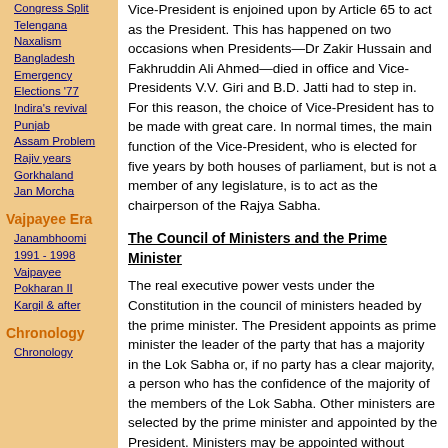Congress Split
Telengana
Naxalism
Bangladesh
Emergency
Elections '77
Indira's revival
Punjab
Assam Problem
Rajiv years
Gorkhaland
Jan Morcha
Vajpayee Era
Janambhoomi
1991 - 1998
Vajpayee
Pokharan II
Kargil & after
Chronology
Chronology
Vice-President is enjoined upon by Article 65 to act as the President. This has happened on two occasions when Presidents—Dr Zakir Hussain and Fakhruddin Ali Ahmed—died in office and Vice-Presidents V.V. Giri and B.D. Jatti had to step in. For this reason, the choice of Vice-President has to be made with great care. In normal times, the main function of the Vice-President, who is elected for five years by both houses of parliament, but is not a member of any legislature, is to act as the chairperson of the Rajya Sabha.
The Council of Ministers and the Prime Minister
The real executive power vests under the Constitution in the council of ministers headed by the prime minister. The President appoints as prime minister the leader of the party that has a majority in the Lok Sabha or, if no party has a clear majority, a person who has the confidence of the majority of the members of the Lok Sabha. Other ministers are selected by the prime minister and appointed by the President. Ministers may be appointed without being members of parliament, but they must become members of any one house either by election or nomination within six months. The council of ministers is collectively responsible to the Lok Sabha and has to resign as soon as it loses the confidence of the Lok Sabha.